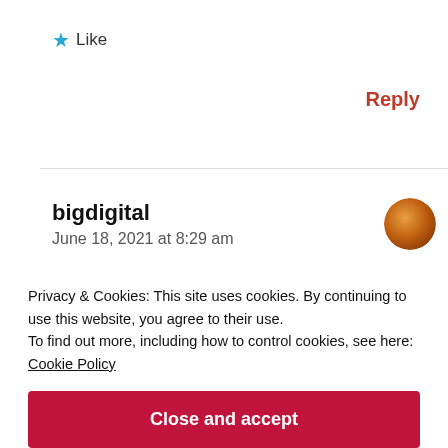★ Like
Reply
bigdigital
June 18, 2021 at 8:29 am
[Figure (photo): Round avatar image of a user, orange/brown tones]
[Figure (infographic): Row of small social sharing icons partially visible]
Privacy & Cookies: This site uses cookies. By continuing to use this website, you agree to their use.
To find out more, including how to control cookies, see here:
Cookie Policy
Close and accept